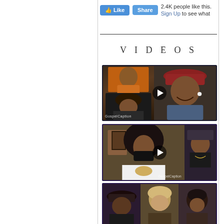[Figure (screenshot): Facebook Like and Share buttons with '2.4K people like this. Sign Up to see what' text]
VIDEOS
[Figure (screenshot): Video thumbnail showing multiple people in a video call grid, with GospelCaption watermark and play button]
[Figure (screenshot): Video thumbnail showing a person wearing a mask in the foreground with another person on the right, GospelCaption watermark and play button]
[Figure (screenshot): Video thumbnail showing multiple people in a video call, partially visible at bottom of page]